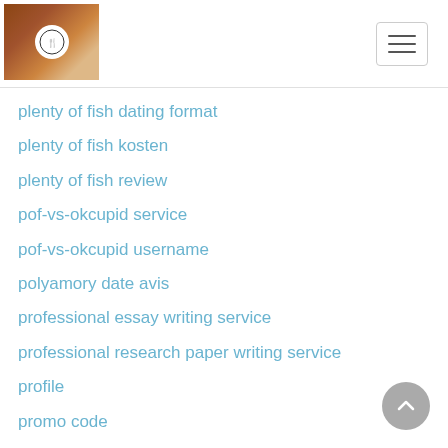[Figure (logo): Website logo with food/recipe image on wooden background with circular icon]
plenty of fish dating format
plenty of fish kosten
plenty of fish review
pof-vs-okcupid service
pof-vs-okcupid username
polyamory date avis
professional essay writing service
professional research paper writing service
profile
promo code
providence escort